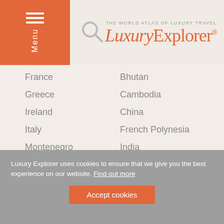THE WORLD ATLAS OF LUXURY TRAVEL — Luxury Explorer®
France
Greece
Ireland
Italy
Montenegro
Netherlands
Portugal
Spain
Switzerland
United Kingdom
Bhutan
Cambodia
China
French Polynesia
India
Indonesia
Laos
Maldives
Philippines
Sri Lanka
Thailand
Luxury Explorer uses cookies to ensure that we give you the best experience on our website. Find out more
Accept cookies